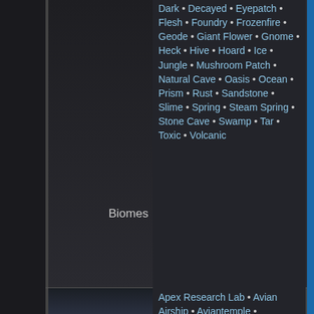[Figure (screenshot): Dark game screenshot background on left panel, top section showing dark cave/biome environment]
Biomes
Dark • Decayed • Eyepatch • Flesh • Foundry • Frozenfire • Geode • Giant Flower • Gnome • Heck • Hive • Hoard • Ice • Jungle • Mushroom Patch • Natural Cave • Oasis • Ocean • Prism • Rust • Sandstone • Slime • Spring • Steam Spring • Stone Cave • Swamp • Tar • Toxic • Volcanic
[Figure (screenshot): Dark game screenshot background on left panel, bottom section showing darker cave/underwater environment]
Apex Research Lab • Avian Airship • Aviantemple •